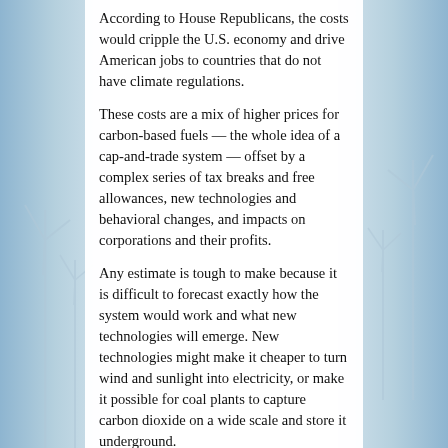According to House Republicans, the costs would cripple the U.S. economy and drive American jobs to countries that do not have climate regulations.
These costs are a mix of higher prices for carbon-based fuels — the whole idea of a cap-and-trade system — offset by a complex series of tax breaks and free allowances, new technologies and behavioral changes, and impacts on corporations and their profits.
Any estimate is tough to make because it is difficult to forecast exactly how the system would work and what new technologies will emerge. New technologies might make it cheaper to turn wind and sunlight into electricity, or make it possible for coal plants to capture carbon dioxide on a wide scale and store it underground.
Or they might not: It is difficult to forecast the effect of inventions still un-invented. Photovoltaic cells are similar to computer chips, whose prices keep falling, but carbon capture and storage is largely uncharted territory.
What did Waxman and Markey give away to get